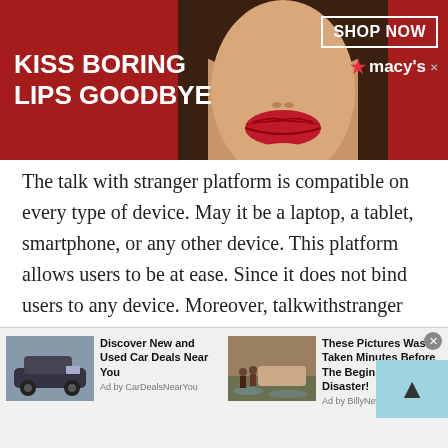[Figure (other): Macy's advertisement banner with red background, woman with red lips, 'KISS BORING LIPS GOODBYE' text, 'SHOP NOW' button, and macy's star logo]
The talk with stranger platform is compatible on every type of device. May it be a laptop, a tablet, smartphone, or any other device. This platform allows users to be at ease. Since it does not bind users to any device. Moreover, talkwithstranger keeps a keen eye on the changing

technological trends. Therefore, they keep a keen eye over the new technologies and make the app compatible with such devices. Moreover,
[Figure (other): Bottom advertisement bar with two ads: 'Discover New and Used Car Deals Near You' by CarDealsNearYou, and 'These Pictures Was Taken Minutes Before The Beginning Of The Disaster!' by BillyNews]